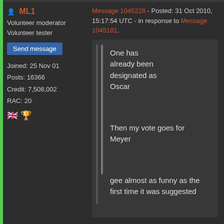ML1
Volunteer moderator
Volunteer tester
Send message
Joined: 25 Nov 01
Posts: 16366
Credit: 7,508,002
RAC: 20
Message 1045228 - Posted: 31 Oct 2010, 15:17:54 UTC - in response to Message 1045181.
One has already been designated as Oscar
Then my vote goes for Meyer
gee almost as funny as the first time it was suggested